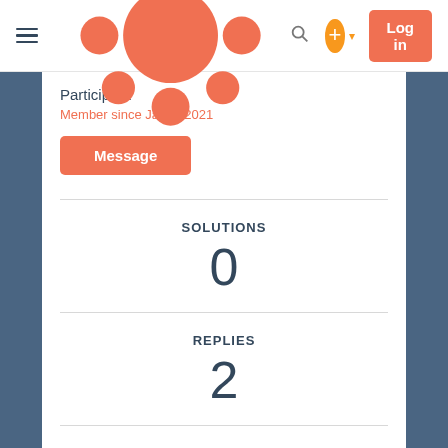[Figure (screenshot): HubSpot community platform navigation bar with hamburger menu, HubSpot logo, search icon, plus/add button, and orange Log in button]
Participant
Member since Jan 3, 2021
[Figure (other): Orange Message button]
SOLUTIONS
0
REPLIES
2
UPVOTES GIVEN